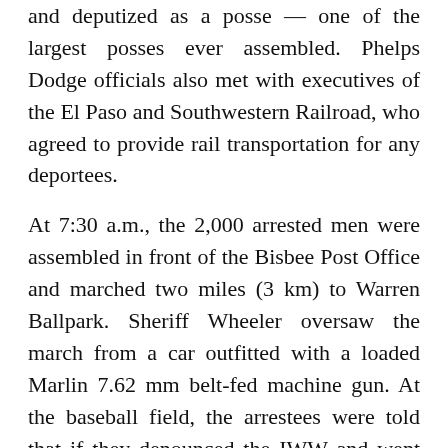and deputized as a posse — one of the largest posses ever assembled. Phelps Dodge officials also met with executives of the El Paso and Southwestern Railroad, who agreed to provide rail transportation for any deportees.
At 7:30 a.m., the 2,000 arrested men were assembled in front of the Bisbee Post Office and marched two miles (3 km) to Warren Ballpark. Sheriff Wheeler oversaw the march from a car outfitted with a loaded Marlin 7.62 mm belt-fed machine gun. At the baseball field, the arrestees were told that if they denounced the IWW and went back to work, they would be freed. Only men who were not IWW members or organizers were given this choice. About 700 men agreed to these terms, while the rest sang, jeered or shouted profanities.
At 11:00 a.m., the El Paso and Southwestern...